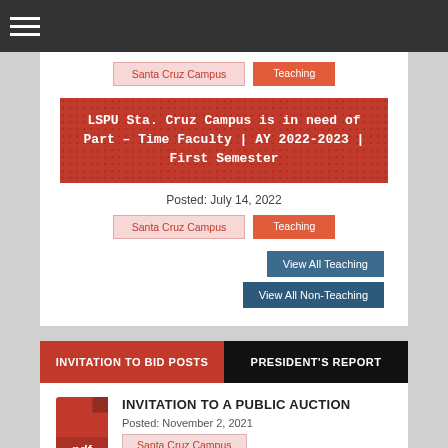Navigation bar with hamburger menu
Santa Cruz Campus | Teaching
LSPU Sta. Cruz Campus is in need of Part – Time Faculty | AY 2022-2023 | First Semester
Posted: July 14, 2022
Santa Cruz Campus | Teaching
View All Teaching
View All Non-Teaching
INVITATION TO BID POSTS | PRESIDENT'S REPORT
INVITATION TO A PUBLIC AUCTION
Posted: November 2, 2021
Santa Cruz Campus